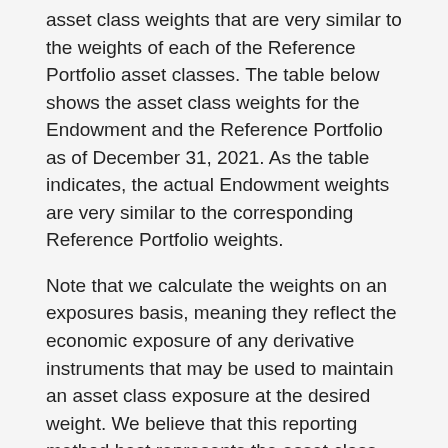asset class weights that are very similar to the weights of each of the Reference Portfolio asset classes. The table below shows the asset class weights for the Endowment and the Reference Portfolio as of December 31, 2021. As the table indicates, the actual Endowment weights are very similar to the corresponding Reference Portfolio weights.
Note that we calculate the weights on an exposures basis, meaning they reflect the economic exposure of any derivative instruments that may be used to maintain an asset class exposure at the desired weight. We believe that this reporting method best represents the asset class exposures and risks of the investment portfolio.
It should also be noted that the asset class weights in the table reflect the impact of mapping investment